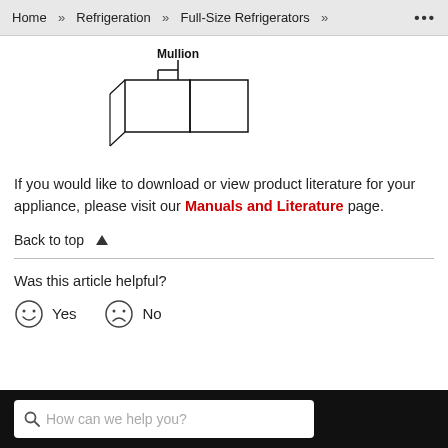Home » Refrigeration » Full-Size Refrigerators » ...
[Figure (engineering-diagram): Diagram showing Mullion and Cabinet Flanges on a refrigerator door cross-section]
If you would like to download or view product literature for your appliance, please visit our Manuals and Literature page.
Back to top ▲
Was this article helpful?
☺ Yes  ☹ No
How can we help you? [search box]